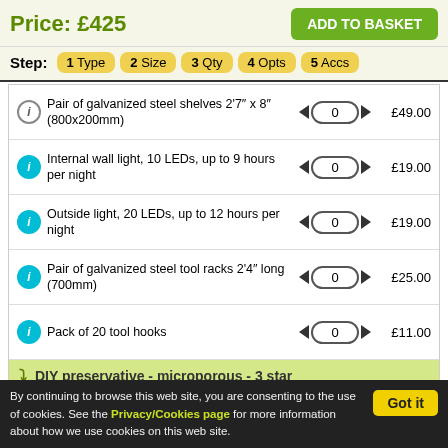Price: £425
ADD TO BASKET
Step: 1 Type  2 Size  3 Qty  4 Opts  5 Accs
| Item | Qty | Price |
| --- | --- | --- |
| Pair of galvanized steel shelves 2'7" x 8" (800x200mm) | 0 | £49.00 |
| Internal wall light, 10 LEDs, up to 9 hours per night | 0 | £19.00 |
| Outside light, 20 LEDs, up to 12 hours per night | 0 | £19.00 |
| Pair of galvanized steel tool racks 2'4" long (700mm) | 0 | £25.00 |
| Pack of 20 tool hooks | 0 | £11.00 |
| DIY preservative - microporous - 3 star |  |  |
| 3 star preservative, 1-2 | 0 | £37.00 |
By continuing to browse this web site, you are consenting to the use of cookies. See the Privacy/Cookies page for more information about how we use cookies on this web site.
Got it